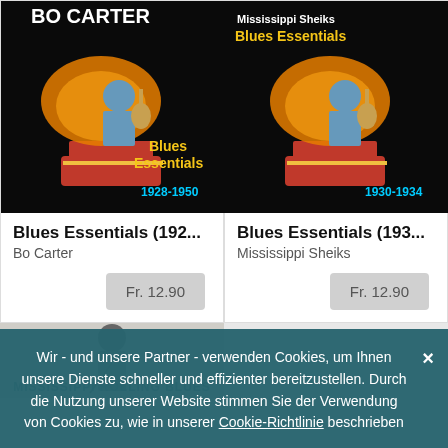[Figure (photo): Album cover for Blues Essentials 1928-1950 by Bo Carter — black background with man playing guitar seated on gramophone with orange/yellow horn decoration, title text in yellow/cyan]
Blues Essentials (192...
Bo Carter
Fr. 12.90
[Figure (photo): Album cover for Mississippi Sheiks Blues Essentials 1930-1934 — black background with man playing guitar seated on gramophone with orange/yellow horn decoration, title text in yellow/cyan]
Blues Essentials (193...
Mississippi Sheiks
Fr. 12.90
[Figure (photo): Partial album cover at bottom left — grey/white background with person standing]
Wir - und unsere Partner - verwenden Cookies, um Ihnen unsere Dienste schneller und effizienter bereitzustellen. Durch die Nutzung unserer Website stimmen Sie der Verwendung von Cookies zu, wie in unserer Cookie-Richtlinie beschrieben